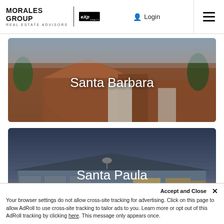MORALES GROUP REAL ESTATE ADVISORS | eXp Realty | Login
[Figure (photo): Aerial view of Santa Barbara with red-tiled roofs and Mediterranean-style architecture]
Santa Barbara
[Figure (photo): Ranch-style home at dusk in Santa Paula with garage and landscaping]
Santa Paula
Accept and Close ✕
Your browser settings do not allow cross-site tracking for advertising. Click on this page to allow AdRoll to use cross-site tracking to tailor ads to you. Learn more or opt out of this AdRoll tracking by clicking here. This message only appears once.